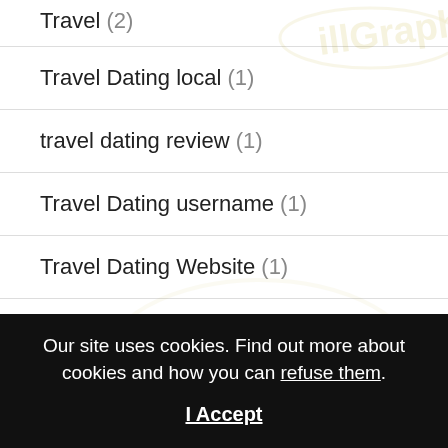Travel (2)
Travel Dating local (1)
travel dating review (1)
Travel Dating username (1)
Travel Dating Website (1)
travel-dating-de kosten (1)
Trueview dating app (1)
Our site uses cookies. Find out more about cookies and how you can refuse them.
I Accept